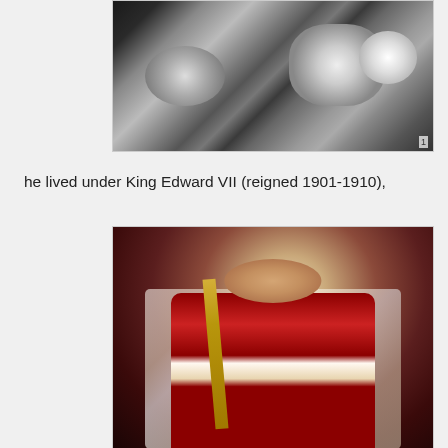[Figure (photo): Black and white photograph showing decorative royal regalia or ceremonial objects, partially cropped at top]
he lived under King Edward VII (reigned 1901-1910),
[Figure (photo): Color portrait painting of King Edward VII in royal coronation robes, holding a scepter, wearing ermine-trimmed robe and red ceremonial dress]